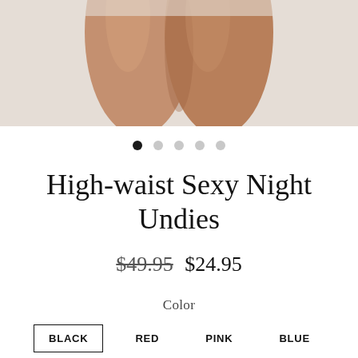[Figure (photo): Close-up photo of a person's legs/thighs against a light beige/gray background, cropped at the top and bottom]
● ○ ○ ○ ○ (image carousel dots, first filled)
High-waist Sexy Night Undies
$49.95  $24.95
Color
BLACK  RED  PINK  BLUE
Size